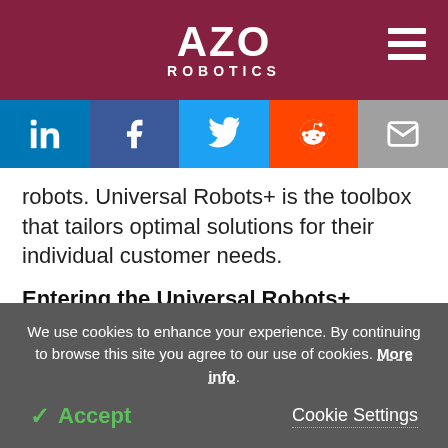AZO ROBOTICS
[Figure (infographic): Social media sharing buttons: LinkedIn, Facebook, Twitter, Reddit, Email]
robots. Universal Robots+ is the toolbox that tailors optimal solutions for their individual customer needs.
Entering the Universal Robots+ Community
To have their application solutions featured in the Universal Robots+ showroom, developers must
We use cookies to enhance your experience. By continuing to browse this site you agree to our use of cookies. More info.
Accept
Cookie Settings